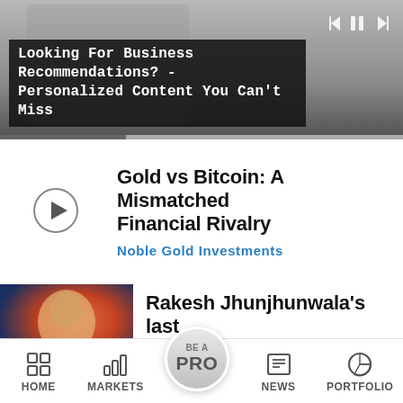[Figure (screenshot): Video banner showing two people in business setting with dark overlay text: Looking For Business Recommendations? - Personalized Content You Can't Miss]
Looking For Business Recommendations? - Personalized Content You Can't Miss
[Figure (other): Ad card with play button icon, title: Gold vs Bitcoin: A Mismatched Financial Rivalry, source: Noble Gold Investments]
Gold vs Bitcoin: A Mismatched Financial Rivalry
Noble Gold Investments
[Figure (photo): Thumbnail image for Rakesh Jhunjhunwala news article, showing close-up portrait with colorful background]
Rakesh Jhunjhunwala's last interview: "Akasa Air is frugal,
Buy Kotak Mahindra Bank; target of Rs 1,674: ICICI Direct
RailRestro plans to invest $30 million by FY27 to boost...
HOME  MARKETS  BE A PRO  NEWS  PORTFOLIO